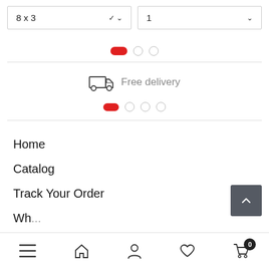8 x 3
1
[Figure (infographic): Pagination dots: one active red pill and two gray circles]
[Figure (infographic): Truck/delivery icon with 'Free delivery' text]
[Figure (infographic): Pagination dots: one active red pill and three gray circles]
Home
Catalog
Track Your Order
Wh...
[Figure (infographic): Back to top button - dark gray square with upward chevron]
[Figure (infographic): Bottom navigation bar with hamburger, home, person, heart, cart icons]